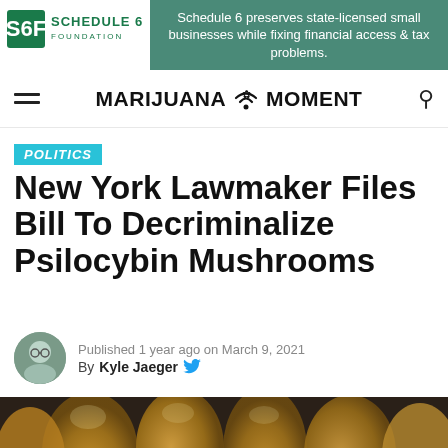[Figure (logo): Schedule 6 Foundation logo with S6F icon and text, alongside teal advertisement banner reading: Schedule 6 preserves state-licensed small businesses while fixing financial access & tax problems.]
Marijuana Moment — navigation header with hamburger menu and search icon
POLITICS
New York Lawmaker Files Bill To Decriminalize Psilocybin Mushrooms
Published 1 year ago on March 9, 2021
By Kyle Jaeger
[Figure (photo): Close-up photo of brown psilocybin mushrooms with glossy caps clustered together against a dark blurred background.]